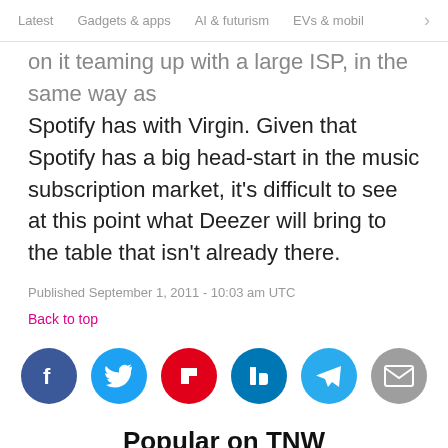Latest  Gadgets & apps  AI & futurism  EVs & mobil  >
on it teaming up with a large ISP, in the same way as Spotify has with Virgin. Given that Spotify has a big head-start in the music subscription market, it's difficult to see at this point what Deezer will bring to the table that isn't already there.
Published September 1, 2011 - 10:03 am UTC
Back to top
[Figure (infographic): Row of social media sharing icons: Facebook (dark blue), Twitter (light blue), Flipboard (red), LinkedIn (dark blue), Telegram (light blue), Email (gray)]
Popular on TNW